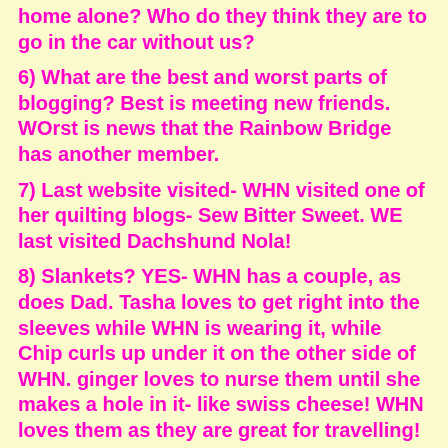home alone?  Who do they think they are to go in the car without us?
6)  What are the best and worst parts of blogging?  Best is meeting new friends.  WOrst is news that the Rainbow Bridge has another member.
7)  Last website visited- WHN visited one of her quilting blogs- Sew Bitter Sweet.  WE last visited Dachshund Nola!
8)  Slankets?  YES-  WHN has a couple, as does Dad.  Tasha loves to get right into the sleeves while WHN is wearing it, while Chip curls up under it on the other side of WHN.  ginger loves to nurse them until she makes a hole in it- like swiss cheese!  WHN loves them as they are great for travelling!